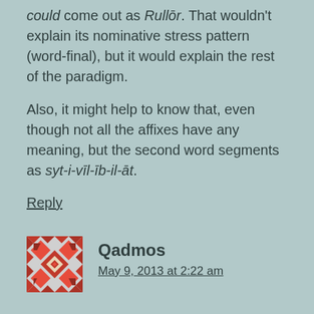could come out as Rullōr. That wouldn't explain its nominative stress pattern (word-final), but it would explain the rest of the paradigm.
Also, it might help to know that, even though not all the affixes have any meaning, but the second word segments as syt-i-vīl-īb-il-āt.
Reply
Qadmos
May 9, 2013 at 2:22 am